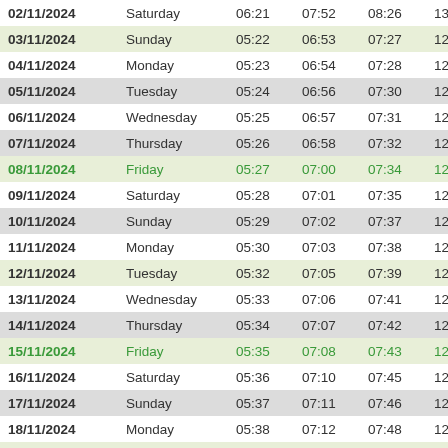| Date | Day | Col3 | Col4 | Col5 | Col6 | Col7 |
| --- | --- | --- | --- | --- | --- | --- |
| 02/11/2024 | Saturday | 06:21 | 07:52 | 08:26 | 13:03 | 1 |
| 03/11/2024 | Sunday | 05:22 | 06:53 | 07:27 | 12:03 | 1 |
| 04/11/2024 | Monday | 05:23 | 06:54 | 07:28 | 12:03 | 1 |
| 05/11/2024 | Tuesday | 05:24 | 06:56 | 07:30 | 12:03 | 1 |
| 06/11/2024 | Wednesday | 05:25 | 06:57 | 07:31 | 12:03 | 1 |
| 07/11/2024 | Thursday | 05:26 | 06:58 | 07:32 | 12:03 | 1 |
| 08/11/2024 | Friday | 05:27 | 07:00 | 07:34 | 12:03 | 1 |
| 09/11/2024 | Saturday | 05:28 | 07:01 | 07:35 | 12:03 | 1 |
| 10/11/2024 | Sunday | 05:29 | 07:02 | 07:37 | 12:03 | 1 |
| 11/11/2024 | Monday | 05:30 | 07:03 | 07:38 | 12:03 | 1 |
| 12/11/2024 | Tuesday | 05:32 | 07:05 | 07:39 | 12:03 | 1 |
| 13/11/2024 | Wednesday | 05:33 | 07:06 | 07:41 | 12:03 | 1 |
| 14/11/2024 | Thursday | 05:34 | 07:07 | 07:42 | 12:04 | 1 |
| 15/11/2024 | Friday | 05:35 | 07:08 | 07:43 | 12:04 | 1 |
| 16/11/2024 | Saturday | 05:36 | 07:10 | 07:45 | 12:04 | 1 |
| 17/11/2024 | Sunday | 05:37 | 07:11 | 07:46 | 12:04 | 1 |
| 18/11/2024 | Monday | 05:38 | 07:12 | 07:48 | 12:04 | 1 |
| 19/11/2024 | Tuesday | 05:39 | 07:13 | 07:49 | 12:05 | 1 |